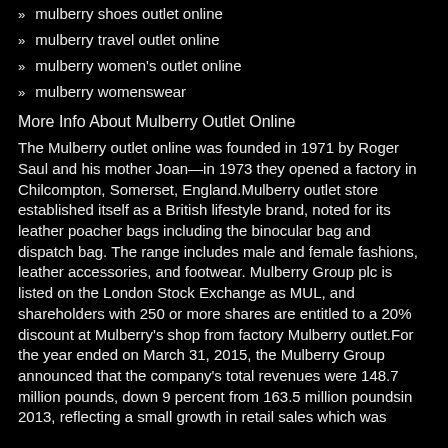mulberry shoes outlet online
mulberry travel outlet online
mulberry women's outlet online
mulberry womenswear
More Info About Mulberry Outlet Online
The Mulberry outlet online was founded in 1971 by Roger Saul and his mother Joan—in 1973 they opened a factory in Chilcompton, Somerset, England.Mulberry outlet store established itself as a British lifestyle brand, noted for its leather poacher bags including the binocular bag and dispatch bag. The range includes male and female fashions, leather accessories, and footwear. Mulberry Group plc is listed on the London Stock Exchange as MUL, and shareholders with 250 or more shares are entitled to a 20% discount at Mulberry's shop from factory Mulberry outlet.For the year ended on March 31, 2015, the Mulberry Group announced that the company's total revenues were 148.7 million pounds, down 9 percent from 163.5 million poundsin 2013, reflecting a small growth in retail sales which was